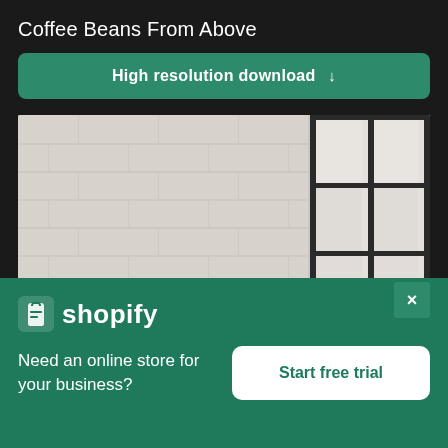Coffee Beans From Above
High resolution download ↓
[Figure (photo): Interior room with white painted brick wall on the left and a large industrial multi-pane window on the right. A person's head is barely visible at the bottom center.]
×
[Figure (logo): Shopify logo: shopping bag icon with 'shopify' text in white]
Need an online store for your business?
Start free trial